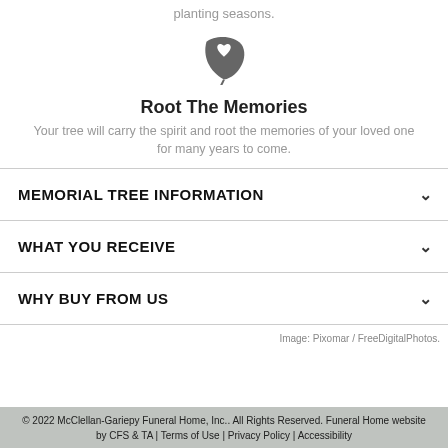planting seasons.
[Figure (illustration): A stylized leaf icon with a heart shape cut out, colored dark gray.]
Root The Memories
Your tree will carry the spirit and root the memories of your loved one for many years to come.
MEMORIAL TREE INFORMATION
WHAT YOU RECEIVE
WHY BUY FROM US
Image: Pixomar / FreeDigitalPhotos.
© 2022 McClellan-Gariepy Funeral Home, Inc.. All Rights Reserved. Funeral Home website by CFS & TA | Terms of Use | Privacy Policy | Accessibility